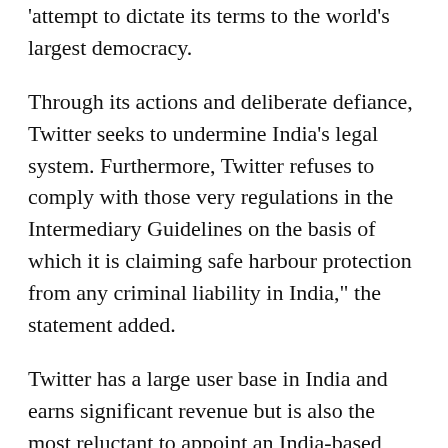‘attempt to dictate its terms to the world’s largest democracy.
Through its actions and deliberate defiance, Twitter seeks to undermine India’s legal system. Furthermore, Twitter refuses to comply with those very regulations in the Intermediary Guidelines on the basis of which it is claiming safe harbour protection from any criminal liability in India,” the statement added.
Twitter has a large user base in India and earns significant revenue but is also the most reluctant to appoint an India-based grievance redressal mechanism, MeitY said, stating that the Centre’s rules empower ordinary users who become victims of abuse on the platform to seek redress.
The Ministry further said that the rules were finalized